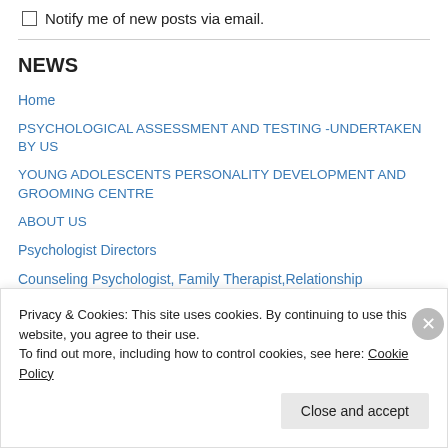Notify me of new posts via email.
NEWS
Home
PSYCHOLOGICAL ASSESSMENT AND TESTING -UNDERTAKEN BY US
YOUNG ADOLESCENTS PERSONALITY DEVELOPMENT AND GROOMING CENTRE
ABOUT US
Psychologist Directors
Counseling Psychologist, Family Therapist,Relationship Counselor,
Psycho meditation Expert
Privacy & Cookies: This site uses cookies. By continuing to use this website, you agree to their use.
To find out more, including how to control cookies, see here: Cookie Policy
Close and accept